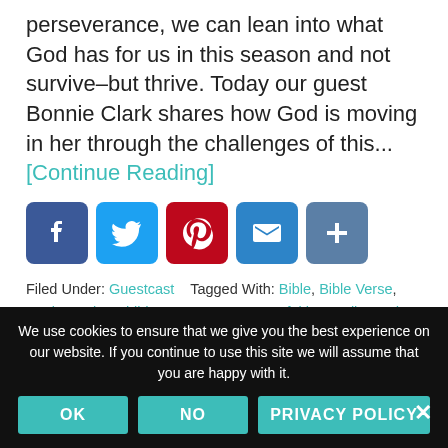perseverance, we can lean into what God has for us in this season and not survive–but thrive. Today our guest Bonnie Clark shares how God is moving in her through the challenges of this... [Continue Reading]
[Figure (other): Social sharing icons: Facebook (blue), Twitter (blue), Pinterest (red), Email (blue), Share/Plus (blue-grey)]
Filed Under: Guestcast   Tagged With: Bible, Bible Verse, Book, Books, Children, encouragement, faith, Family, God, guest post, how to, Kids, Motherhood, parenting, prayer,
We use cookies to ensure that we give you the best experience on our website. If you continue to use this site we will assume that you are happy with it.